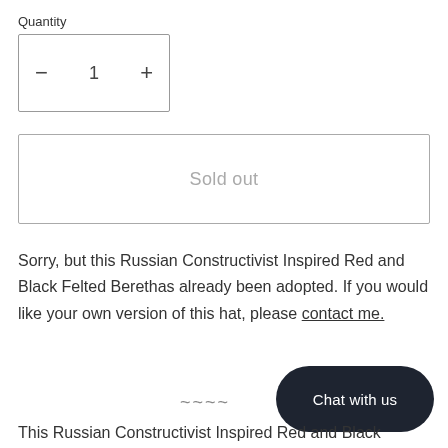Quantity
− 1 +
Sold out
Sorry, but this Russian Constructivist Inspired Red and Black Felted Berethas already been adopted. If you would like your own version of this hat, please contact me.
~~~~
Chat with us
This Russian Constructivist Inspired Red and Black